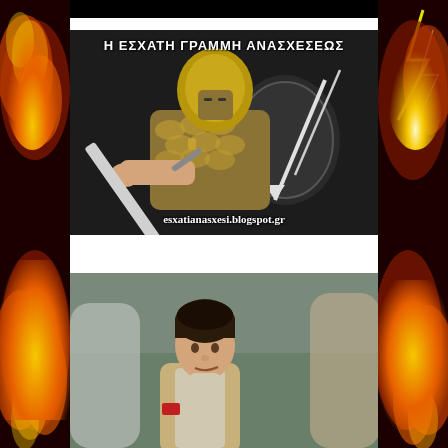[Figure (illustration): Left sidebar with fire/lightning dark red and orange background decoration]
[Figure (illustration): Right sidebar with fire/lightning dark red and orange background decoration]
[Figure (illustration): Greek/Spartan warrior cartoon illustration holding a sword, on dark background, with Greek text 'Η ΕΣΧΑΤΗ ΓΡΑΜΜΗ ΑΝΑΣΧΕΣΕΩΣ' at top and URL 'esxatianasxesi.blogspot.gr' at bottom]
[Figure (photo): Photo of a person with short dark hair in a prison uniform (beige/tan jumpsuit), possibly from TV show Orange Is the New Black]